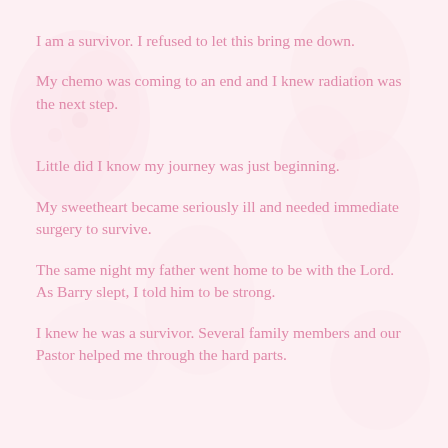I am a survivor. I refused to let this bring me down.
My chemo was coming to an end and I knew radiation was the next step.
Little did I know my journey was just beginning.
My sweetheart became seriously ill and needed immediate surgery to survive.
The same night my father went home to be with the Lord. As Barry slept, I told him to be strong.
I knew he was a survivor. Several family members and our Pastor helped me through the hard parts.